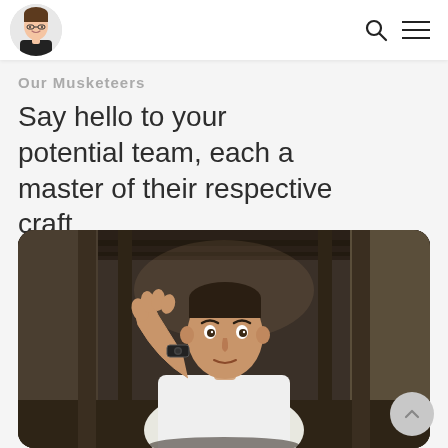Avatar logo, search icon, menu icon
Our Musketeers
Say hello to your potential team, each a master of their respective craft.
[Figure (photo): Portrait photo of a young man in a white t-shirt, raising his hand near his face, wearing a watch, standing in a dark industrial corridor with wooden pillars. Shot in a moody, dramatic style.]